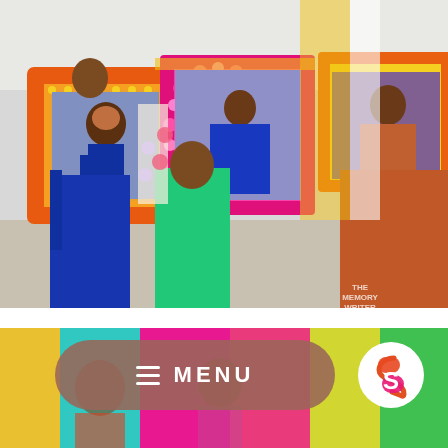[Figure (photo): Four women in colorful traditional Indian attire (blue, green, pink sarees) posing with decorative handmade photo frames (orange with beads, pink floral, orange/yellow). Indoor festive setting with colorful backdrops. Watermark reads 'THE MEMORY WRITER'.]
[Figure (photo): Lower portion of a festive Indian event scene showing colorful yellow, pink, blue fabric backdrops and partial view of people. A brown rounded-rectangle MENU button overlay with hamburger icon and white MENU text is visible, along with an 'S' logo in orange/pink gradient on white circle badge.]